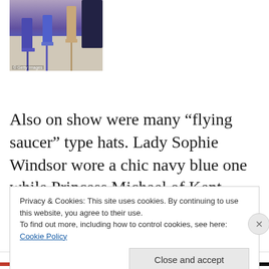[Figure (photo): Close-up photo of women's feet wearing high heels — one pair in bright blue stilettos, another in nude/beige heels — walking on a light-colored surface. Getty Images watermark visible.]
Also on show were many “flying saucer” type hats. Lady Sophie Windsor wore a chic navy blue one while Princess Michael of Kent looked amazing in a Sophia Loren picture hat. Zara Philips went the extra step wearing one that was tilted on the side adorned with large bows
Privacy & Cookies: This site uses cookies. By continuing to use this website, you agree to their use.
To find out more, including how to control cookies, see here: Cookie Policy